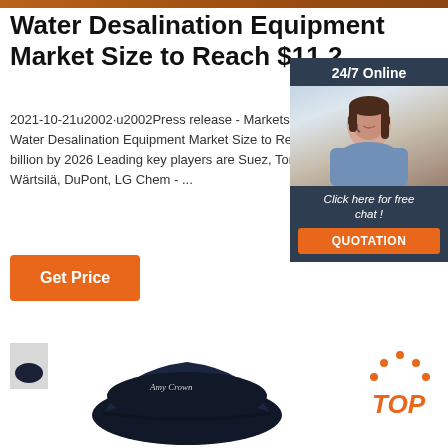[Figure (photo): Top decorative banner strip with brownish/orange texture]
Water Desalination Equipment Market Size to Reach $11.2 ...
2021-10-21u2002·u2002Press release - Marketsand... Water Desalination Equipment Market Size to Reach... billion by 2026 Leading key players are Suez, Toray, Wärtsilä, DuPont, LG Chem - ...
[Figure (photo): Chat widget with 24/7 Online label, photo of woman with headset, Click here for free chat! text, and QUOTATION button in orange on dark navy background]
[Figure (illustration): Get Price orange button]
[Figure (photo): Dark navy bucket hat with script text, small grey thumbnail on left]
[Figure (logo): TOP logo with orange dots arranged in arc above orange italic TOP text]